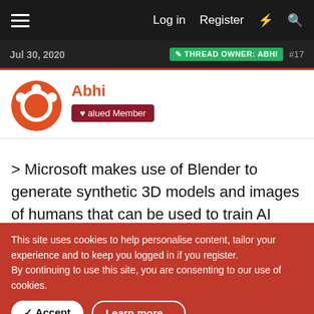Log in  Register
Jul 30, 2020  THREAD OWNER: ABHI  #17
Abhi
Valued Member
> Microsoft makes use of Blender to generate synthetic 3D models and images of humans that can be used to train AI models
[Figure (logo): Blender and Microsoft logos side by side]
![blender microsoft](https://www.blender.org/wp-
This site uses cookies to help personalise content, tailor your experience and to keep you logged in if you register.
By continuing to use this site, you are consenting to our use of cookies.